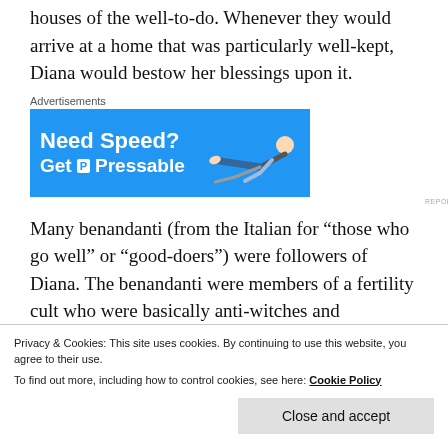houses of the well-to-do. Whenever they would arrive at a home that was particularly well-kept, Diana would bestow her blessings upon it.
[Figure (other): Advertisement banner for Pressable web hosting: blue background with bold white text 'Need Speed? Get Pressable' with Pressable icon and illustration of a person flying horizontally.]
Many benandanti (from the Italian for “those who go well” or “good-doers”) were followers of Diana. The benandanti were members of a fertility cult who were basically anti-witches and practicers of white magic. Nonetheless, they were tortured by the Inquisitors just
Privacy & Cookies: This site uses cookies. By continuing to use this website, you agree to their use.
To find out more, including how to control cookies, see here: Cookie Policy
Close and accept